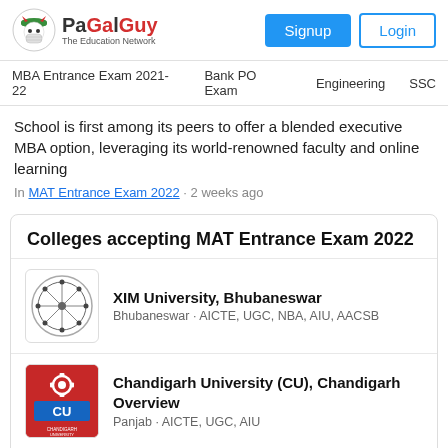PaGaLGuY - The Education Network | Signup | Login
MBA Entrance Exam 2021-22 · Bank PO Exam · Engineering · SSC
School is first among its peers to offer a blended executive MBA option, leveraging its world-renowned faculty and online learning
In MAT Entrance Exam 2022 · 2 weeks ago
Colleges accepting MAT Entrance Exam 2022
XIM University, Bhubaneswar
Bhubaneswar · AICTE, UGC, NBA, AIU, AACSB
Chandigarh University (CU), Chandigarh Overview
Panjab · AICTE, UGC, AIU
View all MAT Entrance Exam 2022 Colleges